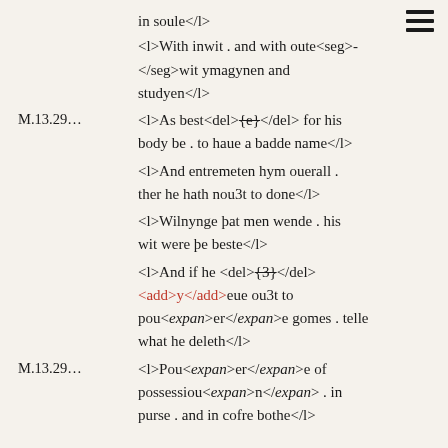in soule</l>
<l>With inwit . and with oute<seg>- </seg>wit ymagynen and studyen</l>
M.13.29... <l>As best<del>{e}</del> for his body be . to haue a badde name</l>
<l>And entremeten hym ouerall . ther he hath nou3t to done</l>
<l>Wilnynge þat men wende . his wit were þe beste</l>
<l>And if he <del>{3}</del> <add>y</add>eue ou3t to pou<expan>er</expan>e gomes . telle what he deleth</l>
M.13.29... <l>Pou<expan>er</expan>e of possessiou<expan>n</expan> . in purse . and in cofre bothe</l>